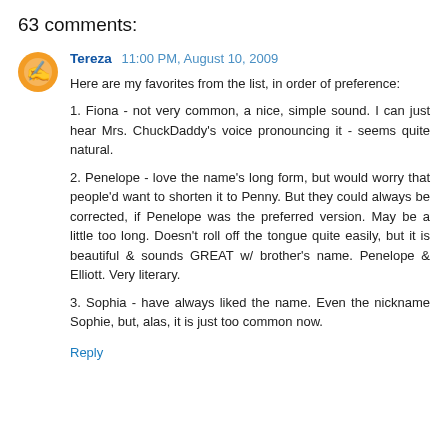63 comments:
Tereza  11:00 PM, August 10, 2009
Here are my favorites from the list, in order of preference:
1. Fiona - not very common, a nice, simple sound. I can just hear Mrs. ChuckDaddy's voice pronouncing it - seems quite natural.
2. Penelope - love the name's long form, but would worry that people'd want to shorten it to Penny. But they could always be corrected, if Penelope was the preferred version. May be a little too long. Doesn't roll off the tongue quite easily, but it is beautiful & sounds GREAT w/ brother's name. Penelope & Elliott. Very literary.
3. Sophia - have always liked the name. Even the nickname Sophie, but, alas, it is just too common now.
Reply